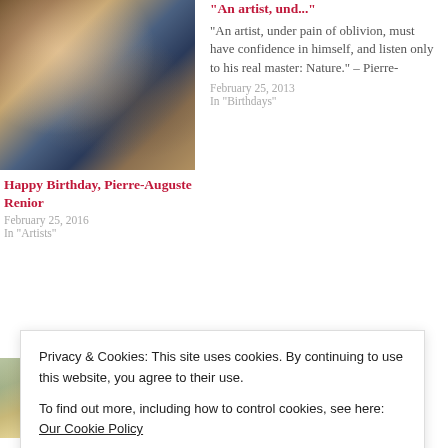[Figure (photo): Impressionist painting showing a crowded dance/social scene with many figures, reminiscent of Renoir's 'Bal du moulin de la Galette']
Happy Birthday, Pierre-Auguste Renior
February 25, 2016
In "Artists"
"An artist, und..."
"An artist, under pain of oblivion, must have confidence in himself, and listen only to his real master: Nature." - Pierre-
February 25, 2013
In "Birthdays"
[Figure (photo): Impressionist painting detail showing a figure, likely another Renoir painting]
Privacy & Cookies: This site uses cookies. By continuing to use this website, you agree to their use.
To find out more, including how to control cookies, see here: Our Cookie Policy
Close and accept